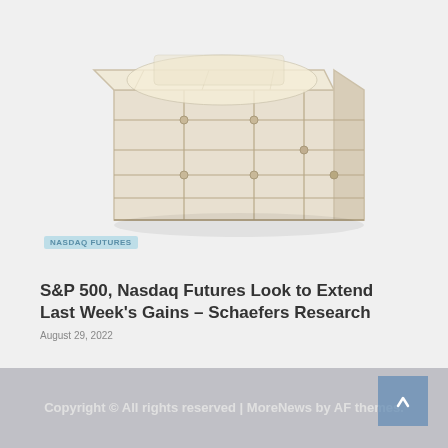[Figure (illustration): Illustration of a wooden crate/box filled with items, rendered in pale/faded beige tones on a light grey background]
S&P 500, Nasdaq Futures Look to Extend Last Week's Gains – Schaefers Research
August 29, 2022
Copyright © All rights reserved | MoreNews by AF themes.